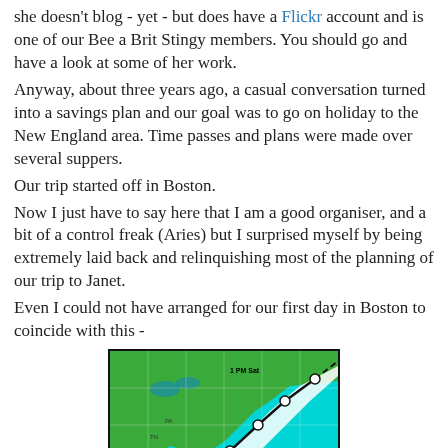she doesn't blog - yet - but does have a Flickr account and is one of our Bee a Brit Stingy members. You should go and have a look at some of her work.
Anyway, about three years ago, a casual conversation turned into a savings plan and our goal was to go on holiday to the New England area. Time passes and plans were made over several suppers.
Our trip started off in Boston.
Now I just have to say here that I am a good organiser, and a bit of a control freak (Aries) but I surprised myself by being extremely laid back and relinquishing most of the planning of our trip to Janet.
Even I could not have arranged for our first day in Boston to coincide with this -
[Figure (map): Hurricane track map showing the eastern United States coastline and Atlantic Ocean. The map shows a hurricane path with a cone of uncertainty moving from the Gulf/Florida area northeastward along the US East Coast toward New England, with time markers including '5 PM Wed', '1 PM Thu', '1 PM Fri', and '1 PM Sat'. The map uses cyan/turquoise for ocean areas and green for land. A dashed black line shows the projected track and a white cone indicates the uncertainty zone. 'Bermuda' is labeled in the ocean.]